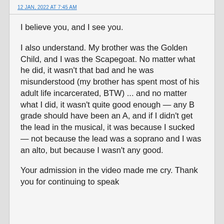12 JAN, 2022 AT 7:45 AM
I believe you, and I see you.
I also understand. My brother was the Golden Child, and I was the Scapegoat. No matter what he did, it wasn't that bad and he was misunderstood (my brother has spent most of his adult life incarcerated, BTW) ... and no matter what I did, it wasn't quite good enough — any B grade should have been an A, and if I didn't get the lead in the musical, it was because I sucked — not because the lead was a soprano and I was an alto, but because I wasn't any good.
Your admission in the video made me cry. Thank you for continuing to speak